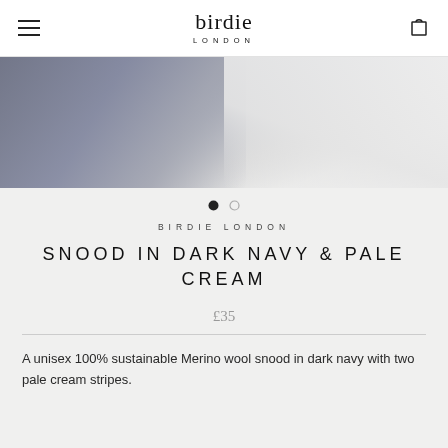birdie LONDON
[Figure (photo): Product photo of a dark navy and pale cream snood, partially visible folded fabric in grey/navy and white tones]
BIRDIE LONDON
SNOOD IN DARK NAVY & PALE CREAM
£35
A unisex 100% sustainable Merino wool snood in dark navy with two pale cream stripes.